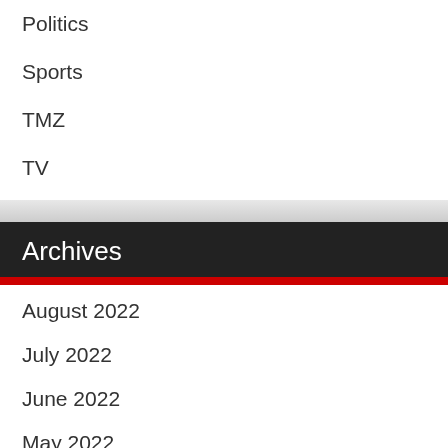Politics
Sports
TMZ
TV
Archives
August 2022
July 2022
June 2022
May 2022
April 2022